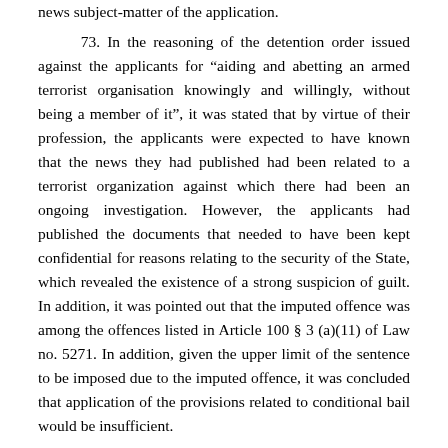news subject-matter of the application.
73. In the reasoning of the detention order issued against the applicants for “aiding and abetting an armed terrorist organisation knowingly and willingly, without being a member of it”, it was stated that by virtue of their profession, the applicants were expected to have known that the news they had published had been related to a terrorist organization against which there had been an ongoing investigation. However, the applicants had published the documents that needed to have been kept confidential for reasons relating to the security of the State, which revealed the existence of a strong suspicion of guilt. In addition, it was pointed out that the imputed offence was among the offences listed in Article 100 § 3 (a)(11) of Law no. 5271. In addition, given the upper limit of the sentence to be imposed due to the imputed offence, it was concluded that application of the provisions related to conditional bail would be insufficient.
74. In the reasoning of the detention order issued